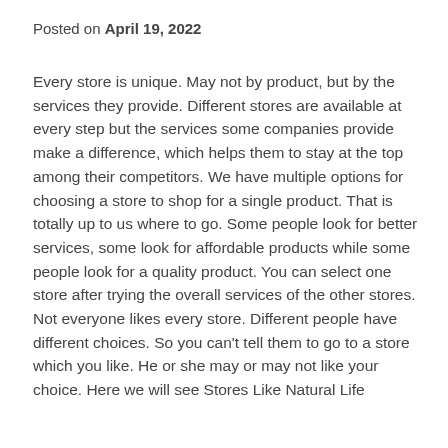Posted on April 19, 2022
Every store is unique. May not by product, but by the services they provide. Different stores are available at every step but the services some companies provide make a difference, which helps them to stay at the top among their competitors. We have multiple options for choosing a store to shop for a single product. That is totally up to us where to go. Some people look for better services, some look for affordable products while some people look for a quality product. You can select one store after trying the overall services of the other stores. Not everyone likes every store. Different people have different choices. So you can't tell them to go to a store which you like. He or she may or may not like your choice. Here we will see Stores Like Natural Life